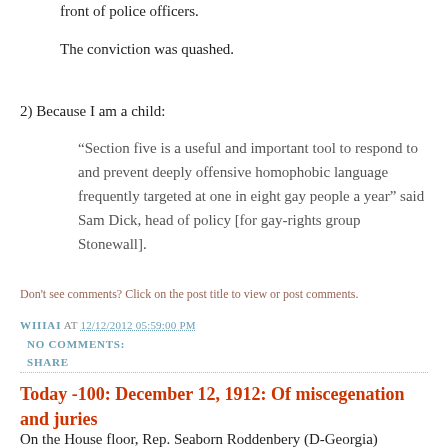front of police officers.
The conviction was quashed.
2) Because I am a child:
“Section five is a useful and important tool to respond to and prevent deeply offensive homophobic language frequently targeted at one in eight gay people a year” said Sam Dick, head of policy [for gay-rights group Stonewall].
Don't see comments? Click on the post title to view or post comments.
WIIIAI AT 12/12/2012 05:59:00 PM
NO COMMENTS:
SHARE
Today -100: December 12, 1912: Of miscegenation and juries
On the House floor, Rep. Seaborn Roddenbery (D-Georgia)